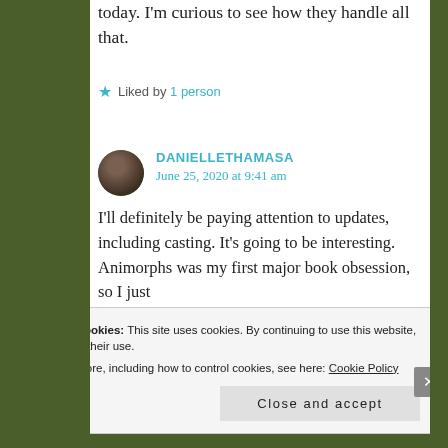today. I'm curious to see how they handle all that.
Liked by 1 person
DANIELLETHAMASA
June 25, 2020 at 9:41 am
I'll definitely be paying attention to updates, including casting. It's going to be interesting. Animorphs was my first major book obsession, so I just
Privacy & Cookies: This site uses cookies. By continuing to use this website, you agree to their use. To find out more, including how to control cookies, see here: Cookie Policy
Close and accept